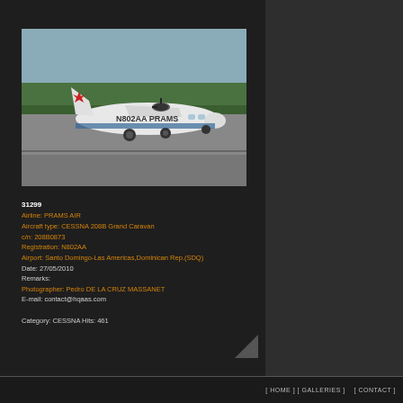[Figure (photo): Cessna 208B Grand Caravan aircraft with PRAMS AIR livery and registration N802AA on tarmac at Santo Domingo-Las Americas airport]
31299
Airline: PRAMS AIR
Aircraft type: CESSNA 208B Grand Caravan
c/n: 208B0873
Registration: N802AA
Airport: Santo Domingo-Las Americas,Dominican Rep.(SDQ)
Date: 27/05/2010
Remarks:
Photographer: Pedro DE LA CRUZ MASSANET
E-mail: contact@hqaas.com

Category: CESSNA Hits: 461
[ HOME ] [ GALLERIES ]    [ CONTACT ]